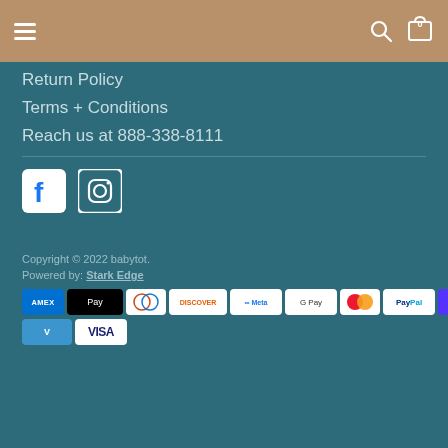Navigation bar with hamburger menu, search icon, and cart (0)
Return Policy
Terms + Conditions
Reach us at 888-338-8111
[Figure (logo): Facebook and Instagram social media icons]
Copyright © 2022 babytot.
Powered by: Stark Edge
[Figure (infographic): Payment method badges: Amex, Apple Pay, Diners, Discover, Meta, Google Pay, Mastercard, PayPal, Shop Pay, Venmo, Visa]